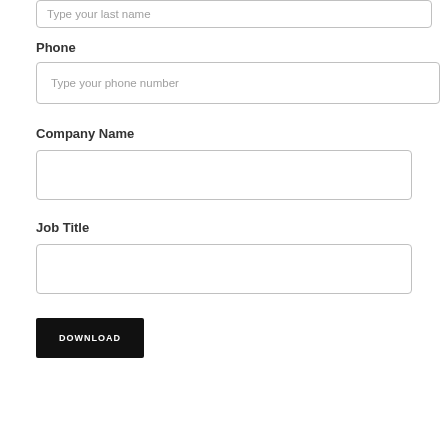Type your last name
Phone
Type your phone number
Company Name
Job Title
DOWNLOAD